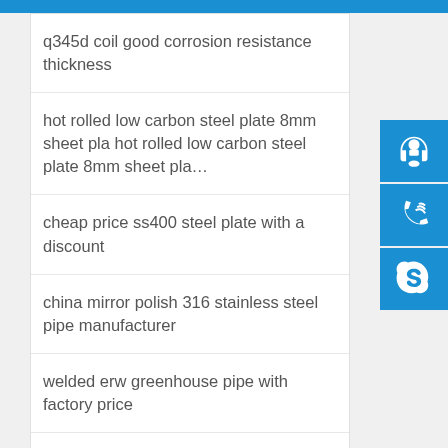q345d coil good corrosion resistance thickness
hot rolled low carbon steel plate 8mm sheet plate
cheap price ss400 steel plate with a discount
china mirror polish 316 stainless steel pipe manufacturer
welded erw greenhouse pipe with factory price
gb stangadrd coil q235b q345b ss400 st37 2
SUS201
carbon steel ship building ah32 dh36 marine steel plate